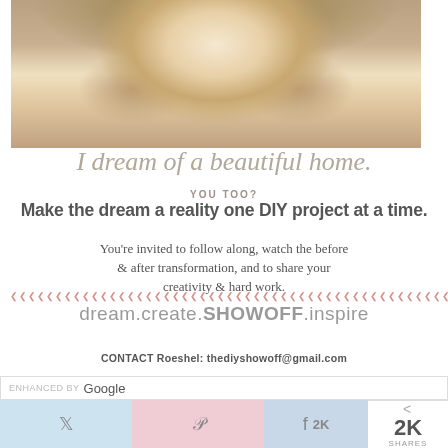[Figure (photo): Close-up photo of a smiling woman with blonde wavy hair and hoop earrings]
I dream of a beautiful home.
YOU TOO?
Make the dream a reality one DIY project at a time.
You’re invited to follow along, watch the before & after transformation, and to share your creativity & hard work.
dream.create.SHOWOFF.inspire
CONTACT Roeshel: thediyshowoff@gmail.com
ENHANCED BY Google